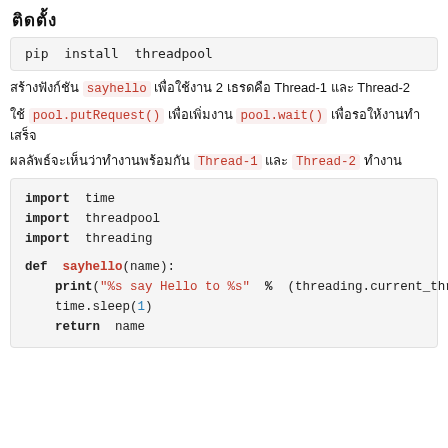ติดตั้ง
pip  install  threadpool
สร้างฟังก์ชัน sayhello เพื่อใช้งาน 2 เธรดคือ Thread-1 และ Thread-2
ใช้ pool.putRequest() เพื่อเพิ่มงาน pool.wait() เพื่อรอให้งานทำเสร็จ
ผลลัพธ์จะเห็นว่าทำงานพร้อมกัน Thread-1 และ Thread-2 ทำงาน
import time
import threadpool
import threading

def sayhello(name):
    print("%s say Hello to %s" % (threading.current_thread().ge
    time.sleep(1)
    return name